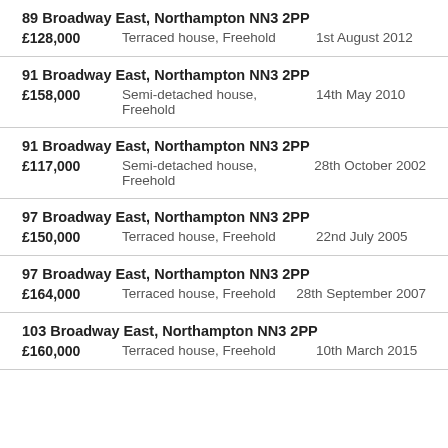89 Broadway East, Northampton NN3 2PP | £128,000 | Terraced house, Freehold | 1st August 2012
91 Broadway East, Northampton NN3 2PP | £158,000 | Semi-detached house, Freehold | 14th May 2010
91 Broadway East, Northampton NN3 2PP | £117,000 | Semi-detached house, Freehold | 28th October 2002
97 Broadway East, Northampton NN3 2PP | £150,000 | Terraced house, Freehold | 22nd July 2005
97 Broadway East, Northampton NN3 2PP | £164,000 | Terraced house, Freehold | 28th September 2007
103 Broadway East, Northampton NN3 2PP | £160,000 | Terraced house, Freehold | 10th March 2015